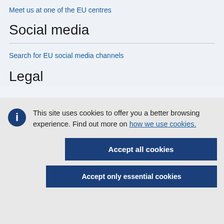Meet us at one of the EU centres
Social media
Search for EU social media channels
Legal
This site uses cookies to offer you a better browsing experience. Find out more on how we use cookies.
Accept all cookies
Accept only essential cookies